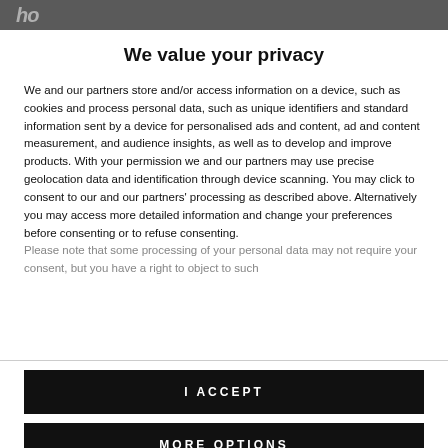ho
We value your privacy
We and our partners store and/or access information on a device, such as cookies and process personal data, such as unique identifiers and standard information sent by a device for personalised ads and content, ad and content measurement, and audience insights, as well as to develop and improve products. With your permission we and our partners may use precise geolocation data and identification through device scanning. You may click to consent to our and our partners' processing as described above. Alternatively you may access more detailed information and change your preferences before consenting or to refuse consenting.
Please note that some processing of your personal data may not require your consent, but you have a right to object to such
I ACCEPT
MORE OPTIONS